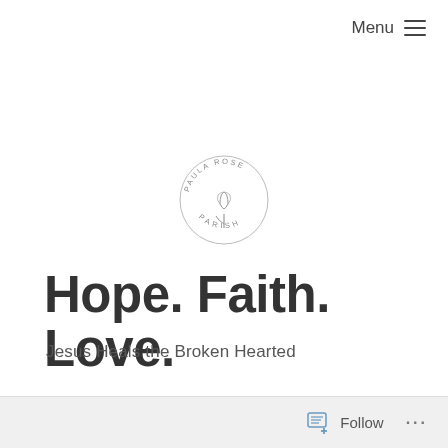Menu
[Figure (logo): Paula Rose Parish circular logo with a rose illustration in the center and text 'PAULA ROSE PARISH' arranged in a circle around it]
Hope. Faith. Love.
Jesus Heals the Broken Hearted
Follow ...